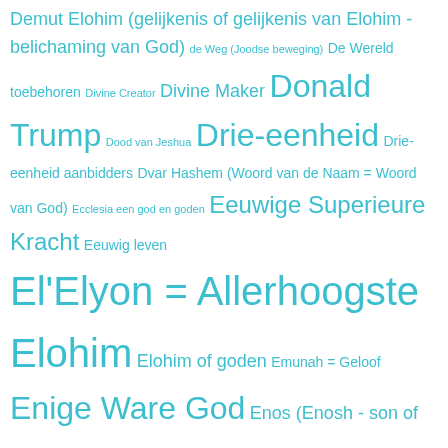Demut Elohim (gelijkenis of gelijkenis van Elohim - belichaming van God) de Weg (Joodse beweging) De Wereld toebehoren Divine Creator Divine Maker Donald Trump Dood van Jeshua Drie-eenheid Drie-eenheid aanbidders Dvar Hashem (Woord van de Naam = Woord van God) Ecclesia een god en goden Eeuwige Superieure Kracht Eeuwig leven El'Elyon = Allerhoogste Elohim Elohim of goden Emunah = Geloof Enige Ware God Enos (Enosh - son of Seth) Enosh (humankind) Enosh (mensheid) Eretz (aarde - aardbol) Eretz (Aarde of Land) Eretz Yisrael (Land of Israel) Erev (avond) Eternal Most High Supreme Being Eternal Spirit God Etz HaChayyim (Boom van Leven) Etz HaDa'as Tov v'Rah (Boom van moraal) Etz HaDa'as Tov v'Rah (Tree of moral) Europe Evangelie - Evangeliën Evolutie